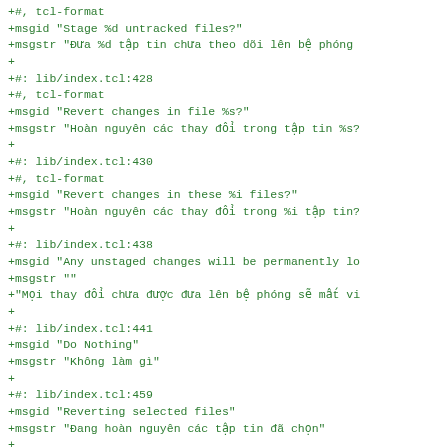+#, tcl-format
+msgid "Stage %d untracked files?"
+msgstr "Đưa %d tập tin chưa theo dõi lên bệ phóng
+
+#: lib/index.tcl:428
+#, tcl-format
+msgid "Revert changes in file %s?"
+msgstr "Hoàn nguyên các thay đổi trong tập tin %s?
+
+#: lib/index.tcl:430
+#, tcl-format
+msgid "Revert changes in these %i files?"
+msgstr "Hoàn nguyên các thay đổi trong %i tập tin?
+
+#: lib/index.tcl:438
+msgid "Any unstaged changes will be permanently lo
+msgstr ""
+"Mọi thay đổi chưa được đưa lên bệ phóng sẽ mất vi
+
+#: lib/index.tcl:441
+msgid "Do Nothing"
+msgstr "Không làm gì"
+
+#: lib/index.tcl:459
+msgid "Reverting selected files"
+msgstr "Đang hoàn nguyên các tập tin đã chọn"
+
+#: lib/index.tcl:463
+#, tcl-format
+msgid "Reverting %s"